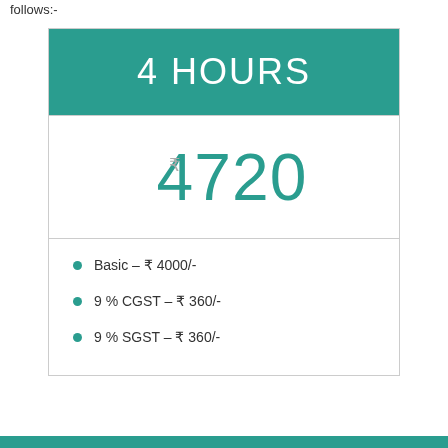follows:-
| 4 HOURS |
| --- |
| ₹ 4720 |
| Basic – ₹ 4000/- | 9 % CGST – ₹ 360/- | 9 % SGST – ₹ 360/- |